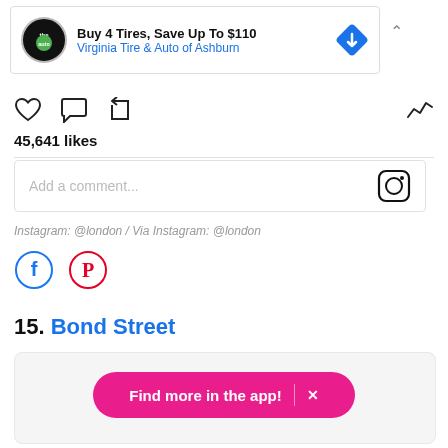[Figure (screenshot): Ad banner for Virginia Tire & Auto of Ashburn: 'Buy 4 Tires, Save Up To $110' with logo and blue diamond arrow icon]
[Figure (screenshot): Instagram action icons: heart, comment, share, and activity graph icon on the right]
45,641 likes
[Figure (screenshot): Instagram comment input box with placeholder 'Add a comment...' and Instagram camera icon]
Instagram: @london / Via Instagram: @london
[Figure (screenshot): Facebook and Pinterest share icons]
15. Bond Street
[Figure (screenshot): Image card placeholder (Bond Street content area)]
[Figure (screenshot): Pink CTA button: 'Find more in the app!' with X close button]